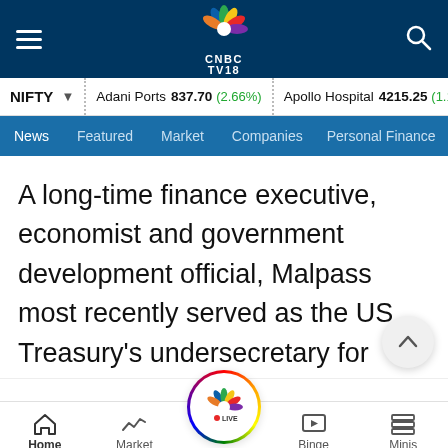CNBC TV18 - Navigation header with hamburger menu, CNBC TV18 logo, and search icon
NIFTY ▾  |  Adani Ports 837.70 (2.66%)  |  Apollo Hospital 4215.25 (1.1
News   Featured   Market   Companies   Personal Finance
A long-time finance executive, economist and government development official, Malpass most recently served as the US Treasury's undersecretary for international affairs. He helped negotiate a $13 billion capital increase for the World Bank last year.
Home   Market   Live TV   Binge   Minis